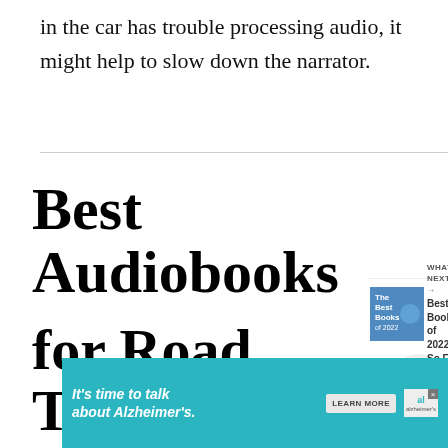in the car has trouble processing audio, it might help to slow down the narrator.
Best Audiobooks for Road Trips
[Figure (infographic): Heart/bookmark icon button (dark circle with heart outline), share icon button (light circle with share icon), 'WHAT'S NEXT → Best Books of 2022 So Far' navigation block with book cover thumbnail]
[Figure (infographic): Advertisement banner: teal background, text 'It's time to talk about Alzheimer's.' with LEARN MORE button and Alzheimer's Association logo, close button]